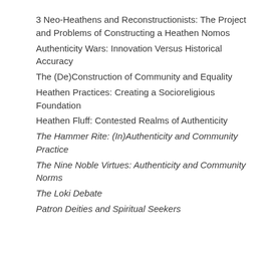3 Neo-Heathens and Reconstructionists: The Project and Problems of Constructing a Heathen Nomos
Authenticity Wars: Innovation Versus Historical Accuracy
The (De)Construction of Community and Equality
Heathen Practices: Creating a Socioreligious Foundation
Heathen Fluff: Contested Realms of Authenticity
The Hammer Rite: (In)Authenticity and Community Practice
The Nine Noble Virtues: Authenticity and Community Norms
The Loki Debate
Patron Deities and Spiritual Seekers